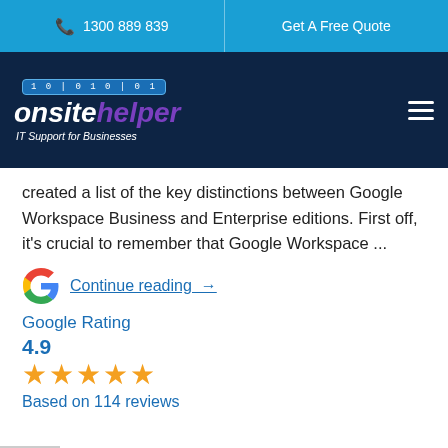1300 889 839 | Get A Free Quote
[Figure (logo): Onsite Helper logo with binary code banner and tagline 'IT Support for Businesses' on dark navy background]
created a list of the key distinctions between Google Workspace Business and Enterprise editions. First off, it's crucial to remember that Google Workspace ...
Continue reading →
[Figure (logo): Google 'G' logo colored icon]
Google Rating
4.9
★★★★★
Based on 114 reviews